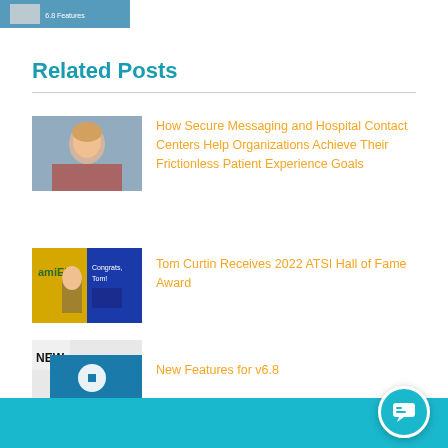[Figure (screenshot): Top thumbnail strip showing miSecure Messages 6.8 Features image partially visible at top of page]
Related Posts
[Figure (photo): Photo of a blonde woman smiling at a computer screen]
How Secure Messaging and Hospital Contact Centers Help Organizations Achieve Their Frictionless Patient Experience Goals
[Figure (photo): Photo with Amelco branding showing a man holding a trophy with text 'Congrats, Tom!']
Tom Curtin Receives 2022 ATSI Hall of Fame Award
[Figure (screenshot): miSecure Messages 6.8 Features promotional thumbnail with NEW label]
New Features for v6.8